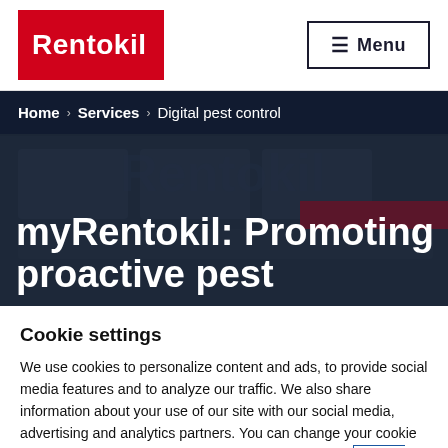Rentokil | Menu
[Figure (screenshot): Rentokil website hero image showing a blurred dashboard/software interface with dark overlay. Breadcrumb navigation shows: Home > Services > Digital pest control. Large white bold text reads: myRentokil: Promoting proactive pest]
Cookie settings
We use cookies to personalize content and ads, to provide social media features and to analyze our traffic. We also share information about your use of our site with our social media, advertising and analytics partners. You can change your cookie settings at any time by selecting "Manage Cookies". Privacy policy